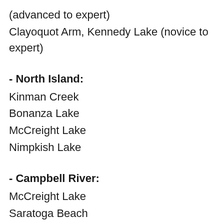(advanced to expert)
Clayoquot Arm, Kennedy Lake (novice to expert)
- North Island:
Kinman Creek
Bonanza Lake
McCreight Lake
Nimpkish Lake
- Campbell River:
McCreight Lake
Saratoga Beach
Miracle Beach
Salmon Point